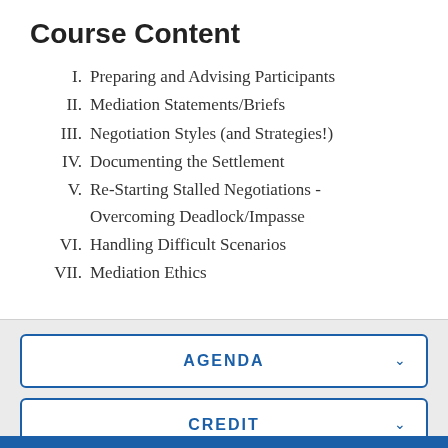Course Content
I. Preparing and Advising Participants
II. Mediation Statements/Briefs
III. Negotiation Styles (and Strategies!)
IV. Documenting the Settlement
V. Re-Starting Stalled Negotiations - Overcoming Deadlock/Impasse
VI. Handling Difficult Scenarios
VII. Mediation Ethics
AGENDA
CREDIT